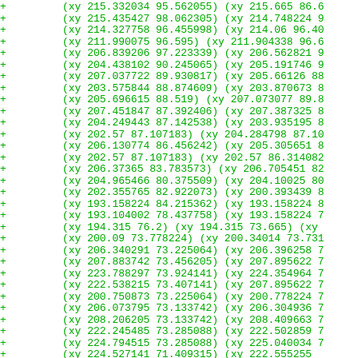Code/diff listing showing coordinate pairs with + markers in green monospace font